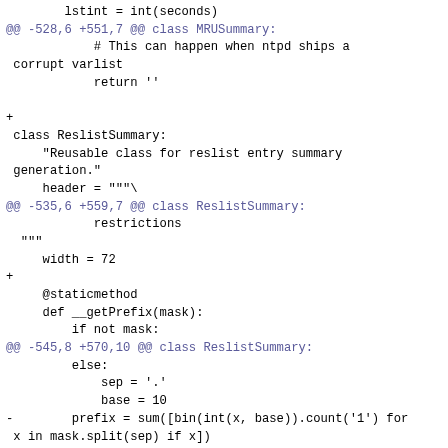lstint = int(seconds)
@@ -528,6 +551,7 @@ class MRUSummary:
            # This can happen when ntpd ships a corrupt varlist
            return ''

+
 class ReslistSummary:
     "Reusable class for reslist entry summary generation."
     header = """\
@@ -535,6 +559,7 @@ class ReslistSummary:
             restrictions
  """
     width = 72
+
     @staticmethod
     def __getPrefix(mask):
         if not mask:
@@ -545,8 +570,10 @@ class ReslistSummary:
         else:
             sep = '.'
             base = 10
-        prefix = sum([bin(int(x, base)).count('1') for x in mask.split(sep) if x])
+        prefix = sum([bin(int(x, base)).count('1')
+                      for x in mask.split(sep) if x])
         return '/' + str(prefix)
+
     def summary(self, variables):